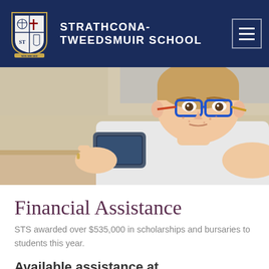Strathcona-Tweedsmuir School
[Figure (photo): A young boy with blue-framed glasses lying on a desk, looking intently at a smartphone he holds with both hands.]
Financial Assistance
STS awarded over $535,000 in scholarships and bursaries to students this year.
Available assistance at